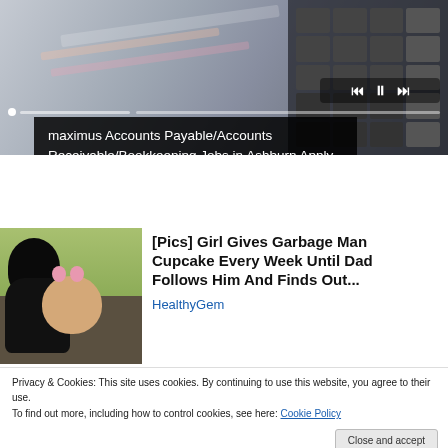[Figure (photo): Website screenshot showing an advertisement banner with a desk/calculator background image, media playback controls, and a scrubber bar]
maximus Accounts Payable/Accounts Receivable/Bookkeeping Jobs in Ashburn Apply...
[Figure (photo): Thumbnail photo of a Black man smiling with a little girl in front of a green outdoor background]
[Pics] Girl Gives Garbage Man Cupcake Every Week Until Dad Follows Him And Finds Out...
HealthyGem
Privacy & Cookies: This site uses cookies. By continuing to use this website, you agree to their use.
To find out more, including how to control cookies, see here: Cookie Policy
Close and accept